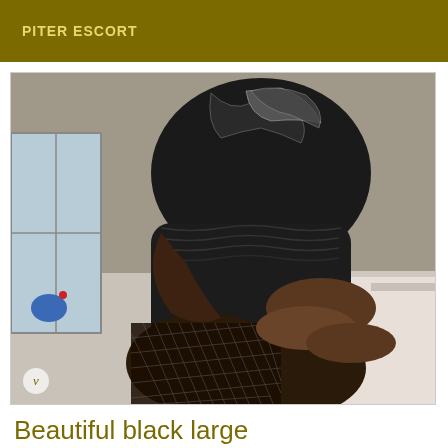PITER ESCORT
[Figure (photo): A person in a dark sequined/textured dress and fishnet stockings, seated, photographed from above without showing the face. Indoor setting with a window visible on the left side.]
Beautiful black large